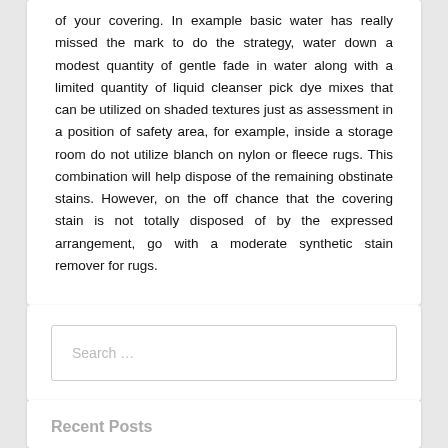of your covering. In example basic water has really missed the mark to do the strategy, water down a modest quantity of gentle fade in water along with a limited quantity of liquid cleanser pick dye mixes that can be utilized on shaded textures just as assessment in a position of safety area, for example, inside a storage room do not utilize blanch on nylon or fleece rugs. This combination will help dispose of the remaining obstinate stains. However, on the off chance that the covering stain is not totally disposed of by the expressed arrangement, go with a moderate synthetic stain remover for rugs.
Search …
Recent Posts